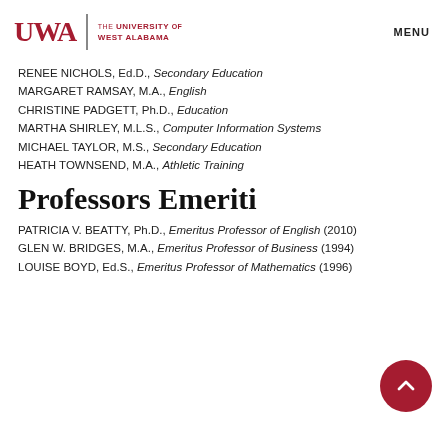UWA | The University of West Alabama | MENU
RENEE NICHOLS, Ed.D., Secondary Education
MARGARET RAMSAY, M.A., English
CHRISTINE PADGETT, Ph.D., Education
MARTHA SHIRLEY, M.L.S., Computer Information Systems
MICHAEL TAYLOR, M.S., Secondary Education
HEATH TOWNSEND, M.A., Athletic Training
Professors Emeriti
PATRICIA V. BEATTY, Ph.D., Emeritus Professor of English (2010)
GLEN W. BRIDGES, M.A., Emeritus Professor of Business (1994)
LOUISE BOYD, Ed.S., Emeritus Professor of Mathematics (1996)